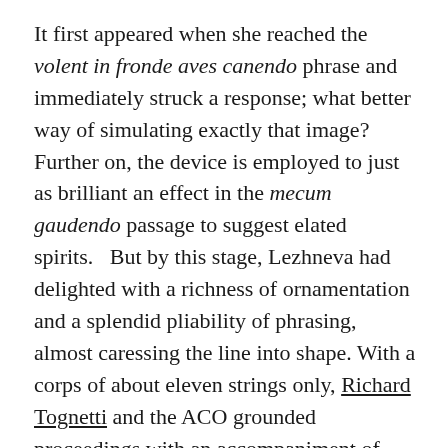It first appeared when she reached the volent in fronde aves canendo phrase and immediately struck a response; what better way of simulating exactly that image?  Further on, the device is employed to just as brilliant an effect in the mecum gaudendo passage to suggest elated spirits.   But by this stage, Lezhneva had delighted with a richness of ornamentation and a splendid pliability of phrasing, almost caressing the line into shape. With a corps of about eleven strings only, Richard Tognetti and the ACO grounded proceedings with an accompaniment of exemplary subtlety.
Just as arresting as her decorative work, the soprano made a brilliant impression with her